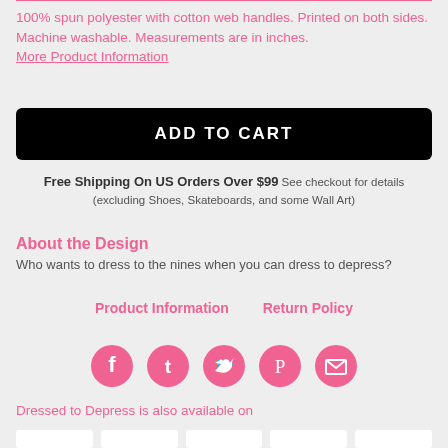100% spun polyester with cotton web handles. Printed on both sides. Machine washable. Measurements are in inches.
More Product Information
ADD TO CART
Free Shipping On US Orders Over $99 See checkout for details (excluding Shoes, Skateboards, and some Wall Art)
About the Design
Who wants to dress to the nines when you can dress to depress?
Product Information     Return Policy
[Figure (infographic): Five pink circular social media share icons: Facebook, Tumblr, Twitter, Pinterest, Email]
Dressed to Depress is also available on